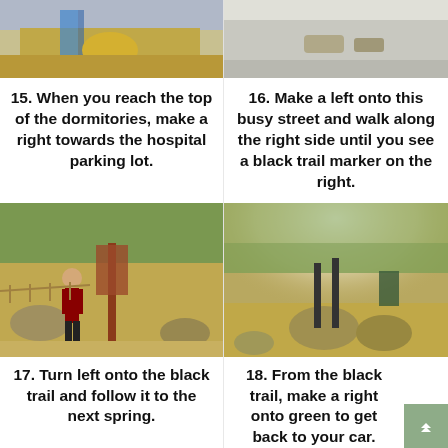[Figure (photo): Top portion of photo showing rooftop area with yellow object and blue railing]
[Figure (photo): Top portion of photo showing concrete surface with small block objects]
15. When you reach the top of the dormitories, make a right towards the hospital parking lot.
16. Make a left onto this busy street and walk along the right side until you see a black trail marker on the right.
[Figure (photo): Person standing next to a trail marker post on a dusty trail with trees in background]
[Figure (photo): Trail path with rocks and trail marker, sunlight beaming through trees]
17. Turn left onto the black trail and follow it to the next spring.
18. From the black trail, make a right onto green to get back to your car.